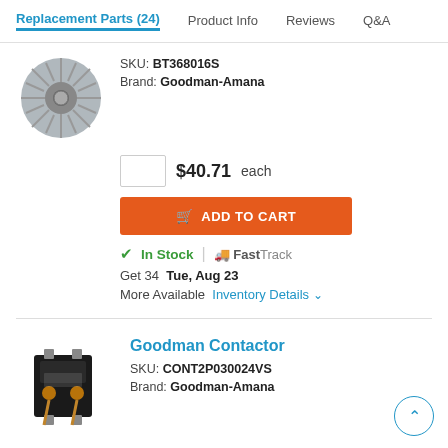Replacement Parts (24)  Product Info  Reviews  Q&A
SKU: BT368016S
Brand: Goodman-Amana
$40.71 each
ADD TO CART
In Stock  |  FastTrack
Get 34  Tue, Aug 23
More Available  Inventory Details
Goodman Contactor
SKU: CONT2P030024VS
Brand: Goodman-Amana